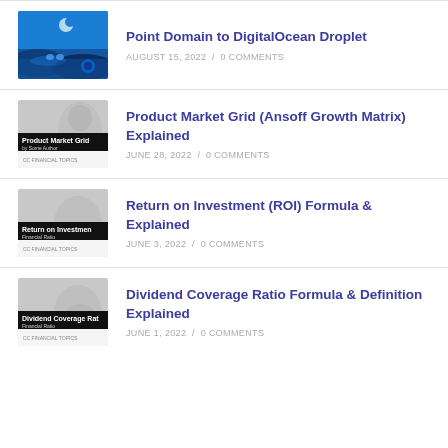Point Domain to DigitalOcean Droplet
AUGUST 15, 2022 / 0 COMMENTS
Product Market Grid (Ansoff Growth Matrix) Explained
JUNE 28, 2022 / 0 COMMENTS
Return on Investment (ROI) Formula & Explained
JUNE 3, 2022 / 0 COMMENTS
Dividend Coverage Ratio Formula & Definition Explained
JUNE 1, 2022 / 0 COMMENTS